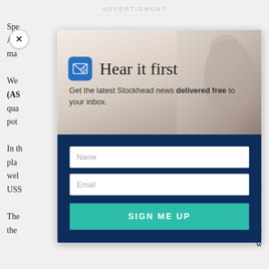ADVERTISMENT
Spe
Arg
ma

We
(AS
qua
pot

In th
pla
wel
USS

The
the
[Figure (screenshot): Email newsletter signup modal overlay with 'Hear it first' heading, email icon, subtitle 'Get the latest Stockhead news delivered free to your inbox.', name input field, email input field, and 'SIGN ME UP' button. Background shows a marmot/groundhog photo.]
Hear it first
Get the latest Stockhead news delivered free to your inbox.
Name
Email
SIGN ME UP